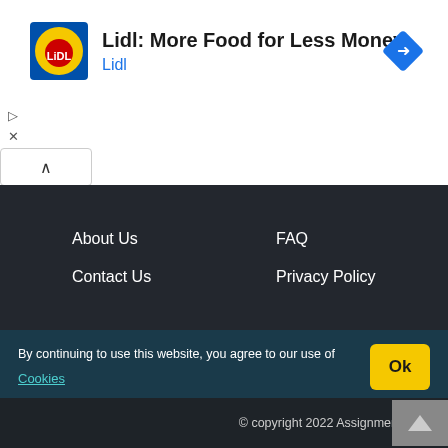[Figure (logo): Lidl advertisement banner with Lidl logo, title 'Lidl: More Food for Less Money', subtitle 'Lidl', and a blue navigation diamond icon on the right]
About Us
FAQ
Contact Us
Privacy Policy
By continuing to use this website, you agree to our use of Cookies
© copyright 2022 AssignmentPoint